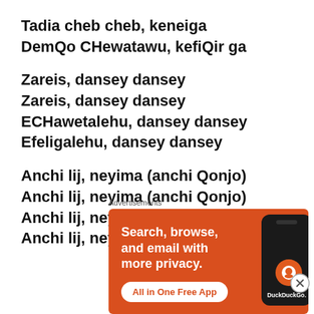Tadia cheb cheb, keneiga
DemQo CHewatawu, kefiQir ga
Zareis, dansey dansey
Zareis, dansey dansey
ECHawetalehu, dansey dansey
Efeligalehu, dansey dansey
Anchi lij, neyima (anchi Qonjo)
Anchi lij, neyima (anchi Qonjo)
Anchi lij, neyima (anchi Qonjo)
Anchi lij, neyima (anchi Qonjo)
[Figure (screenshot): DuckDuckGo advertisement banner with orange background. Text reads: Search, browse, and email with more privacy. All in One Free App. Shows a dark smartphone with DuckDuckGo logo.]